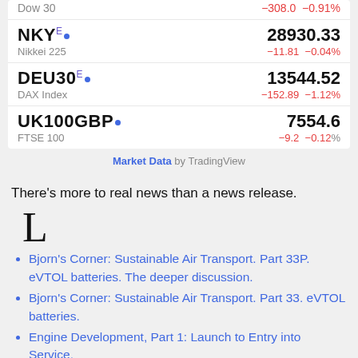| Ticker | Name | Price | Change | Change% |
| --- | --- | --- | --- | --- |
| Dow 30 |  |  | −308.0 | −0.91% |
| NKY E • | Nikkei 225 | 28930.33 | −11.81 | −0.04% |
| DEU30 E • | DAX Index | 13544.52 | −152.89 | −1.12% |
| UK100GBP • | FTSE 100 | 7554.6 | −9.2 | −0.12% |
Market Data by TradingView
There's more to real news than a news release.
L
Bjorn's Corner: Sustainable Air Transport. Part 33P. eVTOL batteries. The deeper discussion.
Bjorn's Corner: Sustainable Air Transport. Part 33. eVTOL batteries.
Engine Development, Part 1: Launch to Entry into Service.